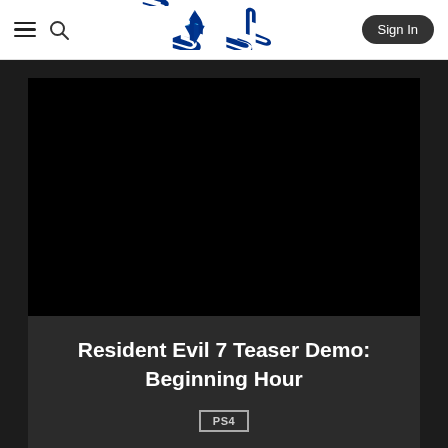PlayStation — Sign In
[Figure (screenshot): Black video player area showing Resident Evil 7 Teaser Demo]
Resident Evil 7 Teaser Demo: Beginning Hour
PS4